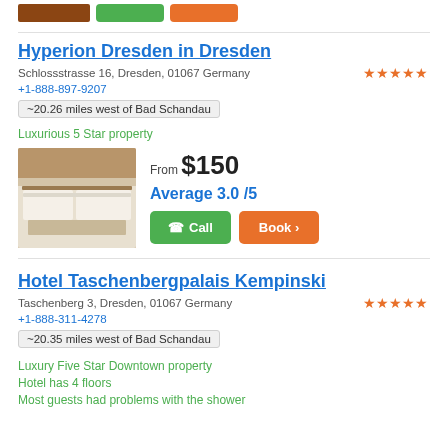[Figure (screenshot): Top strip with hotel image thumbnail and green/orange buttons from previous listing]
Hyperion Dresden in Dresden
Schlossstrasse 16, Dresden, 01067 Germany
+1-888-897-9207
~20.26 miles west of Bad Schandau
Luxurious 5 Star property
[Figure (photo): Hotel room photo showing white pillows and bedding on a wooden headboard]
From $150
Average 3.0 /5
Call
Book >
Hotel Taschenbergpalais Kempinski
Taschenberg 3, Dresden, 01067 Germany
+1-888-311-4278
~20.35 miles west of Bad Schandau
Luxury Five Star Downtown property
Hotel has 4 floors
Most guests had problems with the shower